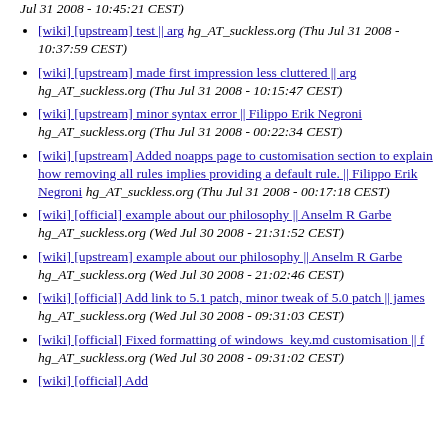Jul 31 2008 - 10:45:21 CEST)
[wiki] [upstream] test || arg hg_AT_suckless.org (Thu Jul 31 2008 - 10:37:59 CEST)
[wiki] [upstream] made first impression less cluttered || arg hg_AT_suckless.org (Thu Jul 31 2008 - 10:15:47 CEST)
[wiki] [upstream] minor syntax error || Filippo Erik Negroni hg_AT_suckless.org (Thu Jul 31 2008 - 00:22:34 CEST)
[wiki] [upstream] Added noapps page to customisation section to explain how removing all rules implies providing a default rule. || Filippo Erik Negroni hg_AT_suckless.org (Thu Jul 31 2008 - 00:17:18 CEST)
[wiki] [official] example about our philosophy || Anselm R Garbe hg_AT_suckless.org (Wed Jul 30 2008 - 21:31:52 CEST)
[wiki] [upstream] example about our philosophy || Anselm R Garbe hg_AT_suckless.org (Wed Jul 30 2008 - 21:02:46 CEST)
[wiki] [official] Add link to 5.1 patch, minor tweak of 5.0 patch || james hg_AT_suckless.org (Wed Jul 30 2008 - 09:31:03 CEST)
[wiki] [official] Fixed formatting of windows_key.md customisation || f hg_AT_suckless.org (Wed Jul 30 2008 - 09:31:02 CEST)
[wiki] [official] Add ...